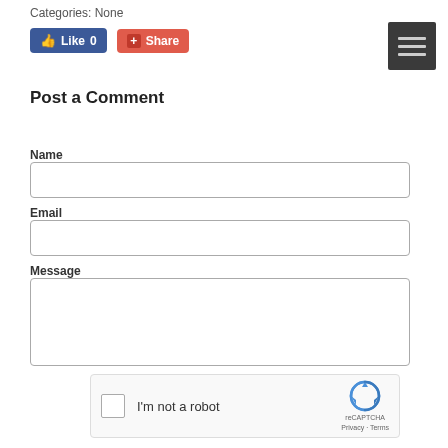Categories: None
[Figure (screenshot): Like button (blue) showing 'Like 0' and Share button (red/orange) with plus icon, plus a dark hamburger menu icon in the top right]
Post a Comment
Name
Email
Message
[Figure (other): reCAPTCHA widget with checkbox, 'I'm not a robot' text, and reCAPTCHA logo with Privacy and Terms links]